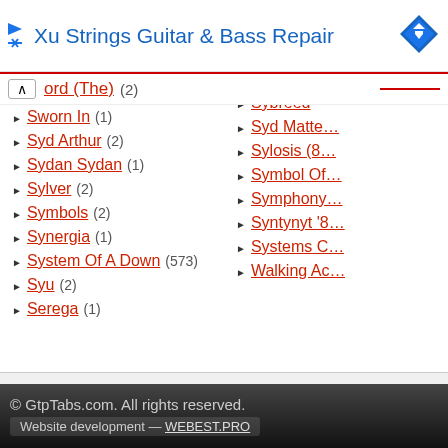[Figure (other): Advertisement banner for Xu Strings Guitar & Bass Repair with blue play/close icons and a blue diamond logo]
ord (The) (2)
Sworn Ene...
Sworn In (1)
Sybreed
Syd Arthur (2)
Syd Matte...
Sydan Sydan (1)
Sylosis (8...
Sylver (2)
Symbol Of...
Symbols (2)
Symphony...
Synergia (1)
Syntynyt '8...
System Of A Down (573)
Systems C...
Syu (2)
Walking Ac...
Serega (1)
© GtpTabs.com. All rights reserved.
Website development — WEBEST.PRO